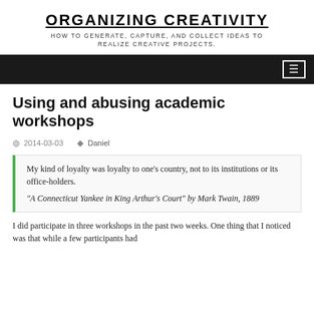ORGANIZING CREATIVITY
HOW TO GENERATE, CAPTURE, AND COLLECT IDEAS TO REALIZE CREATIVE PROJECTS.
Using and abusing academic workshops
2014-03-03  Daniel
My kind of loyalty was loyalty to one’s country, not to its institutions or its office-holders.
“A Connecticut Yankee in King Arthur’s Court” by Mark Twain, 1889
I did participate in three workshops in the past two weeks. One thing that I noticed was that while a few participants had